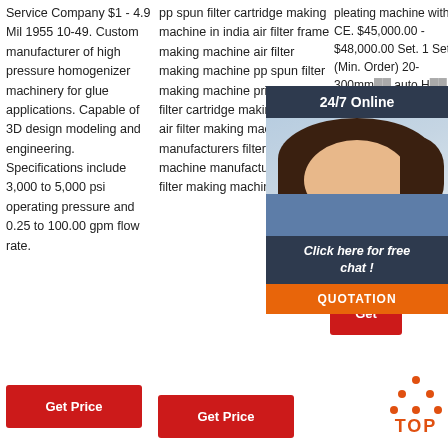Service Company $1 - 4.9 Mil 1955 10-49. Custom manufacturer of high pressure homogenizer machinery for glue applications. Capable of 3D design modeling and engineering. Specifications include 3,000 to 5,000 psi operating pressure and 0.25 to 100.00 gpm flow rate.
pp spun filter cartridge making machine in india air filter frame making machine air filter making machine pp spun filter making machine price water filter cartridge making machine air filter making machine manufacturers filter making machine manufacturer bike air filter making machine car …
pleating machine with CE. $45,000.00 - $48,000.00 Set. 1 Set (Min. Order) 20-300mm width Full auto H... paper ... machi... fiber m... for ind... $39,00... $41,50...
[Figure (photo): Customer service representative chat widget overlay with '24/7 Online' header, photo of woman with headset, 'Click here for free chat!' text, and orange QUOTATION button.]
Get Price
Get Price
Get
[Figure (infographic): TOP button icon with orange dots arranged in triangle above bold orange 'TOP' text]